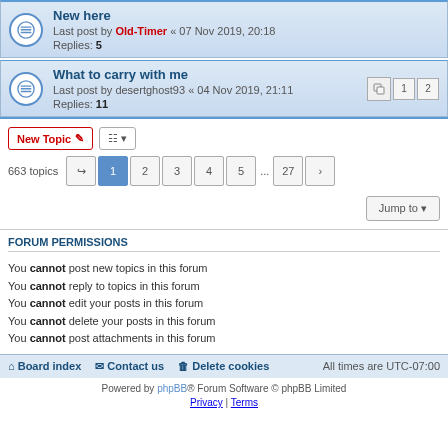New here — Last post by Old-Timer « 07 Nov 2019, 20:18 — Replies: 5
What to carry with me — Last post by desertghost93 « 04 Nov 2019, 21:11 — Replies: 11
663 topics — pagination: 1 2 3 4 5 ... 27
Jump to
FORUM PERMISSIONS
You cannot post new topics in this forum
You cannot reply to topics in this forum
You cannot edit your posts in this forum
You cannot delete your posts in this forum
You cannot post attachments in this forum
Board index | Contact us | Delete cookies | All times are UTC-07:00
Powered by phpBB® Forum Software © phpBB Limited
Privacy | Terms